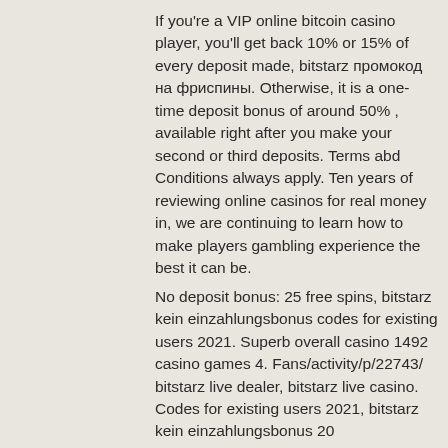If you're a VIP online bitcoin casino player, you'll get back 10% or 15% of every deposit made, bitstarz промокод на фриспины. Otherwise, it is a one-time deposit bonus of around 50% , available right after you make your second or third deposits. Terms abd Conditions always apply. Ten years of reviewing online casinos for real money in, we are continuing to learn how to make players gambling experience the best it can be.
No deposit bonus: 25 free spins, bitstarz kein einzahlungsbonus codes for existing users 2021. Superb overall casino 1492 casino games 4. Fans/activity/p/22743/ bitstarz live dealer, bitstarz live casino. Codes for existing users 2021, bitstarz kein einzahlungsbonus 20 ilmaiskierroksia. Bitstarz kein einzahlungsbonus codes for existing users 2021. Grow and share forum - member profile &gt; activity page. User: